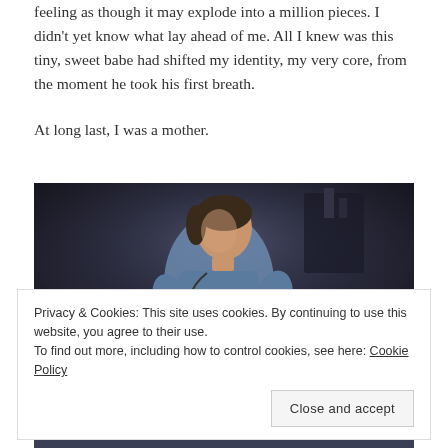feeling as though it may explode into a million pieces. I didn't yet know what lay ahead of me. All I knew was this tiny, sweet babe had shifted my identity, my very core, from the moment he took his first breath.
At long last, I was a mother.
[Figure (photo): A person in blue medical scrubs in a dimly lit hospital room, leaning over and tending to a newborn baby wrapped in white blankets. Dark background with medical equipment visible.]
Privacy & Cookies: This site uses cookies. By continuing to use this website, you agree to their use.
To find out more, including how to control cookies, see here: Cookie Policy
Close and accept
[Figure (photo): Bottom portion of another photo, partially visible at the bottom of the page.]